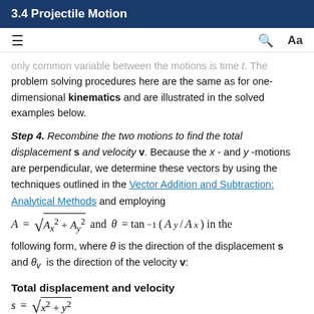3.4 Projectile Motion
only common variable between the motions is time t. The problem solving procedures here are the same as for one-dimensional kinematics and are illustrated in the solved examples below.
Step 4. Recombine the two motions to find the total displacement s and velocity v. Because the x- and y-motions are perpendicular, we determine these vectors by using the techniques outlined in the Vector Addition and Subtraction: Analytical Methods and employing A = sqrt(A_x^2 + A_y^2) and θ = tan^{-1}(A_y/A_x) in the following form, where θ is the direction of the displacement s and θ_v is the direction of the velocity v:
Total displacement and velocity